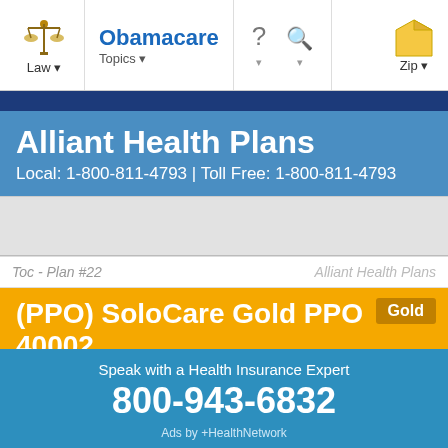Obamacare | Law | Topics | Zip
Alliant Health Plans
Local: 1-800-811-4793 | Toll Free: 1-800-811-4793
Toc - Plan #22
Alliant Health Plans
(PPO) SoloCare Gold PPO 40002
Gold
Speak with a Health Insurance Expert
800-943-6832
Ads by +HealthNetwork